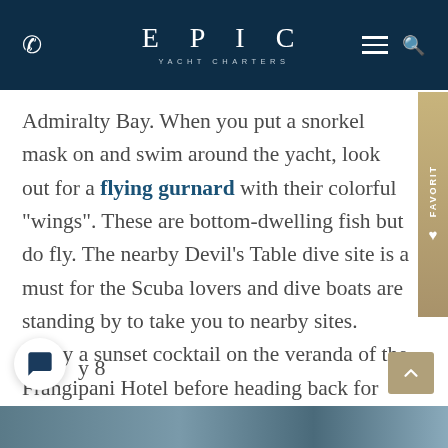EPIC YACHT CHARTERS
Admiralty Bay. When you put a snorkel mask on and swim around the yacht, look out for a flying gurnard with their colorful "wings". These are bottom-dwelling fish but do fly. The nearby Devil's Table dive site is a must for the Scuba lovers and dive boats are standing by to take you to nearby sites. Enjoy a sunset cocktail on the veranda of the Frangipani Hotel before heading back for dinner onboard.
Day 8